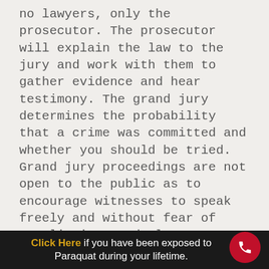no lawyers, only the prosecutor. The prosecutor will explain the law to the jury and work with them to gather evidence and hear testimony. The grand jury determines the probability that a crime was committed and whether you should be tried. Grand jury proceedings are not open to the public as to encourage witnesses to speak freely and without fear of retaliation, and also to protect the potential defendant's reputation in case the jury does not decide to indict.
What happens after the grand jury makes their decision?
To indict, grand juries do not need a
Click Here if you have been exposed to Paraquat during your lifetime.